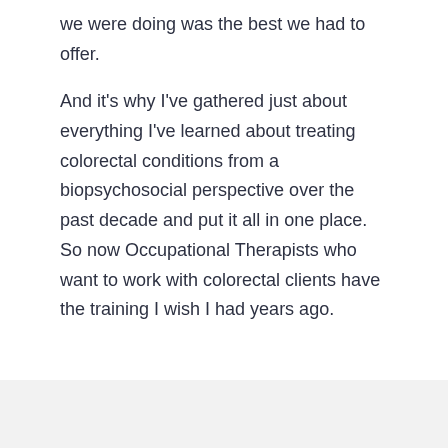we were doing was the best we had to offer.
And it's why I've gathered just about everything I've learned about treating colorectal conditions from a biopsychosocial perspective over the past decade and put it all in one place. So now Occupational Therapists who want to work with colorectal clients have the training I wish I had years ago.